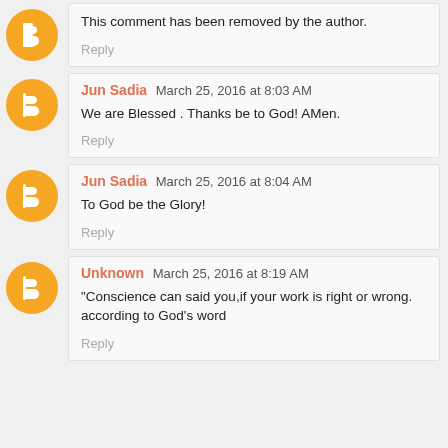This comment has been removed by the author.
Reply
Jun Sadia March 25, 2016 at 8:03 AM
We are Blessed . Thanks be to God! AMen.
Reply
Jun Sadia March 25, 2016 at 8:04 AM
To God be the Glory!
Reply
Unknown March 25, 2016 at 8:19 AM
"Conscience can said you,if your work is right or wrong.
according to God's word
Reply